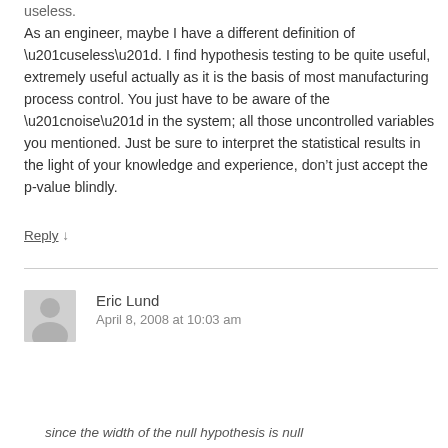useless. As an engineer, maybe I have a different definition of “useless”. I find hypothesis testing to be quite useful, extremely useful actually as it is the basis of most manufacturing process control. You just have to be aware of the “noise” in the system; all those uncontrolled variables you mentioned. Just be sure to interpret the statistical results in the light of your knowledge and experience, don’t just accept the p-value blindly.
Reply ↓
Eric Lund
April 8, 2008 at 10:03 am
since the width of the null hypothesis is null